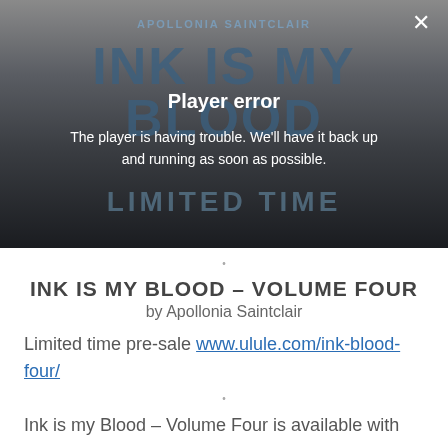[Figure (screenshot): Video player showing 'Ink is My Blood' by Apollonia Saintclair with a player error overlay. Background shows book title text and 'LIMITED TIME' text. A close (X) button is visible top right. Error message reads 'Player error' with subtext 'The player is having trouble. We'll have it back up and running as soon as possible.']
•
INK IS MY BLOOD – VOLUME FOUR
by Apollonia Saintclair
Limited time pre-sale www.ulule.com/ink-blood-four/
•
Ink is my Blood – Volume Four is available with many